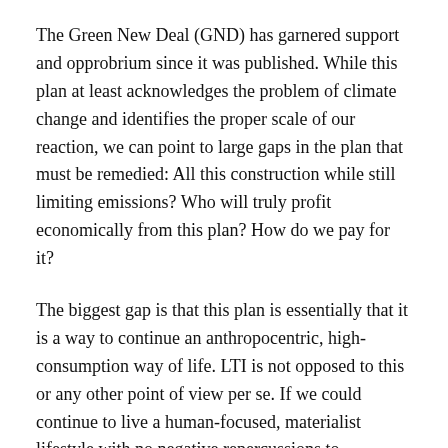The Green New Deal (GND) has garnered support and opprobrium since it was published. While this plan at least acknowledges the problem of climate change and identifies the proper scale of our reaction, we can point to large gaps in the plan that must be remedied: All this construction while still limiting emissions? Who will truly profit economically from this plan? How do we pay for it?
The biggest gap is that this plan is essentially that it is a way to continue an anthropocentric, high-consumption way of life. LTI is not opposed to this or any other point of view per se. If we could continue to live a human-focused, materialist lifestyle with no negative repercussions to ecosystems, other living creatures, the climate, or society, then by all means laissez les bons temps rouler. But this isn't the case.